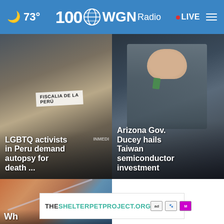🌙 73° | WGN Radio 100 | LIVE
[Figure (photo): Protest scene in Peru with people holding a sign reading FISCALIA DE LA PERU]
LGBTQ activists in Peru demand autopsy for death ...
[Figure (photo): Arizona Governor Ducey in a suit and green tie speaking]
Arizona Gov. Ducey hails Taiwan semiconductor investment
[Figure (photo): Close-up of a medical needle/syringe]
Wh
[Figure (photo): Man with glasses standing near a building with trees]
[Figure (screenshot): Ad banner for THESHELTERPETPROJECT.ORG with ad icons]